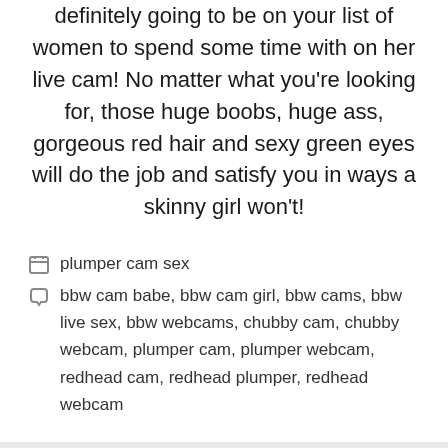definitely going to be on your list of women to spend some time with on her live cam! No matter what you're looking for, those huge boobs, huge ass, gorgeous red hair and sexy green eyes will do the job and satisfy you in ways a skinny girl won't!
plumper cam sex
bbw cam babe, bbw cam girl, bbw cams, bbw live sex, bbw webcams, chubby cam, chubby webcam, plumper cam, plumper webcam, redhead cam, redhead plumper, redhead webcam
Blonde bbw rides dildo on